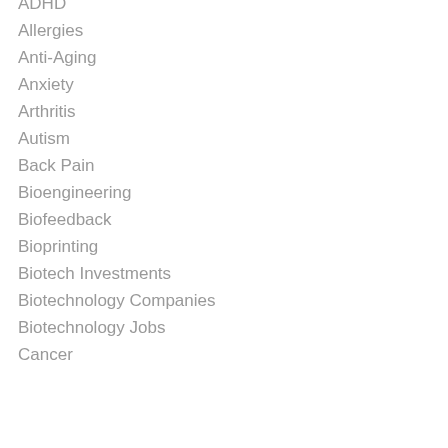ADHD
Allergies
Anti-Aging
Anxiety
Arthritis
Autism
Back Pain
Bioengineering
Biofeedback
Bioprinting
Biotech Investments
Biotechnology Companies
Biotechnology Jobs
Cancer